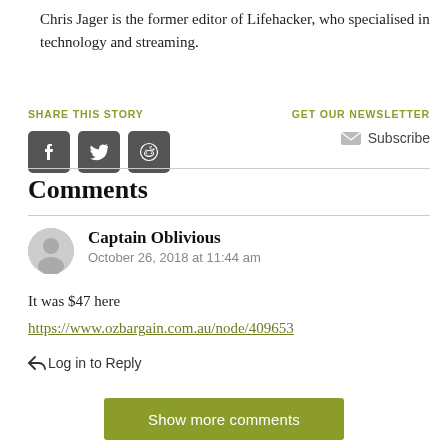Chris Jager is the former editor of Lifehacker, who specialised in technology and streaming.
SHARE THIS STORY
GET OUR NEWSLETTER
Subscribe
Comments
Captain Oblivious
October 26, 2018 at 11:44 am
It was $47 here
https://www.ozbargain.com.au/node/409653
Log in to Reply
Show more comments